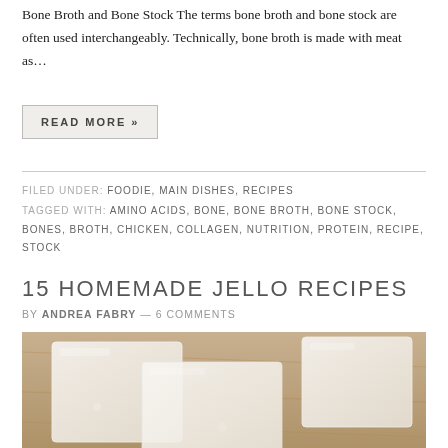Bone Broth and Bone Stock The terms bone broth and bone stock are often used interchangeably. Technically, bone broth is made with meat as…
READ MORE »
FILED UNDER: FOODIE, MAIN DISHES, RECIPES
TAGGED WITH: AMINO ACIDS, BONE, BONE BROTH, BONE STOCK, BONES, BROTH, CHICKEN, COLLAGEN, NUTRITION, PROTEIN, RECIPE, STOCK
15 HOMEMADE JELLO RECIPES
BY ANDREA FABRY — 6 COMMENTS
[Figure (photo): Top-down view of translucent white/pale jello squares on a wooden board]